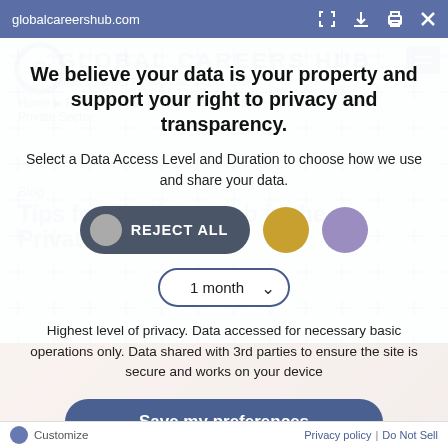globalcareershub.com
We believe your data is your property and support your right to privacy and transparency.
Select a Data Access Level and Duration to choose how we use and share your data.
[Figure (screenshot): Three privacy level buttons: REJECT ALL (dark pill with grey circle), a gold circle, and a purple circle]
[Figure (screenshot): Dropdown selector showing '1 month' with chevron]
Highest level of privacy. Data accessed for necessary basic operations only. Data shared with 3rd parties to ensure the site is secure and works on your device
[Figure (screenshot): Save my preferences button (dark blue rounded rectangle)]
Customize  |  Privacy policy  |  Do Not Sell